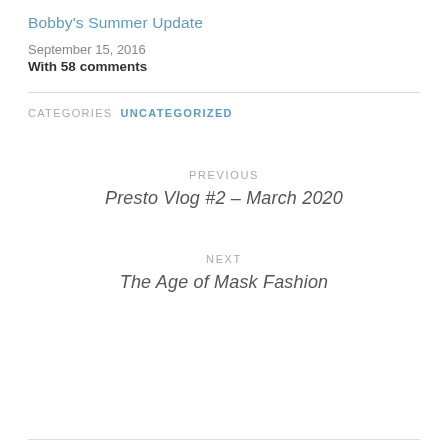Bobby's Summer Update
September 15, 2016
With 58 comments
CATEGORIES  UNCATEGORIZED
PREVIOUS
Presto Vlog #2 – March 2020
NEXT
The Age of Mask Fashion